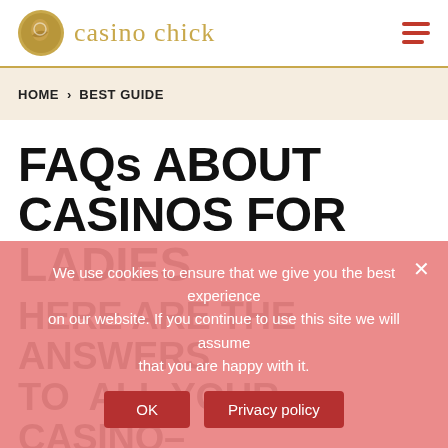casino chick
HOME > BEST GUIDE
FAQs ABOUT CASINOS FOR LADIES
HERE ARE THE ANSWERS TO ALL YOUR CASINO-RELATED QUESTIONS!
We use cookies to ensure that we give you the best experience on our website. If you continue to use this site we will assume that you are happy with it.
OK   Privacy policy